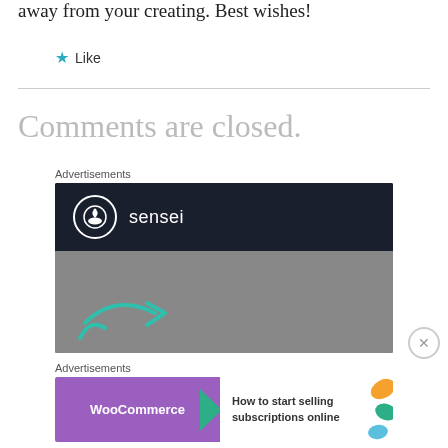away from your creating. Best wishes!
★ Like
Comments are closed.
Advertisements
[Figure (illustration): Sensei advertisement banner with dark navy header showing the Sensei logo (circle with bonsai tree icon and 'sensei' text) and a grey lower section with a teal arrow graphic]
Advertisements
[Figure (illustration): WooCommerce advertisement banner with purple left section showing WooCommerce logo and teal arrow, white right section with text 'How to start selling subscriptions online' and colorful leaf shapes on right edge]